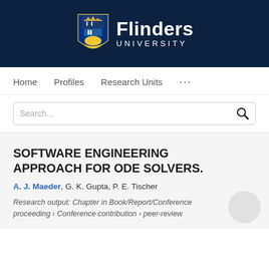[Figure (logo): Flinders University logo with shield and ship crest on dark navy background, white text reading 'Flinders UNIVERSITY']
Home   Profiles   Research Units   ...
Search...
SOFTWARE ENGINEERING APPROACH FOR ODE SOLVERS.
A. J. Maeder, G. K. Gupta, P. E. Tischer
Research output: Chapter in Book/Report/Conference proceeding › Conference contribution › peer-review